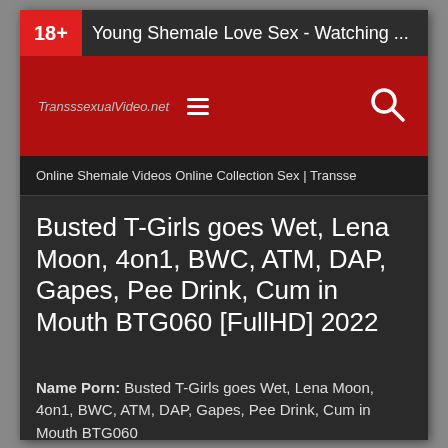18+ Young Shemale Love Sex - Watching ...
[Figure (screenshot): Website navigation bar with logo 'TranssexualVideo.net', hamburger menu icon, and search icon on a dark red background]
Online Shemale Videos Online Collection Sex | Transse
Busted T-Girls goes Wet, Lena Moon, 4on1, BWC, ATM, DAP, Gapes, Pee Drink, Cum in Mouth BTG060 [FullHD] 2022
Name Porn: Busted T-Girls goes Wet, Lena Moon, 4on1, BWC, ATM, DAP, Gapes, Pee Drink, Cum in Mouth BTG060